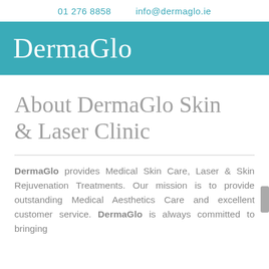01 276 8858    info@dermaglo.ie
DermaGlo
About DermaGlo Skin & Laser Clinic
DermaGlo provides Medical Skin Care, Laser & Skin Rejuvenation Treatments. Our mission is to provide outstanding Medical Aesthetics Care and excellent customer service. DermaGlo is always committed to bringing